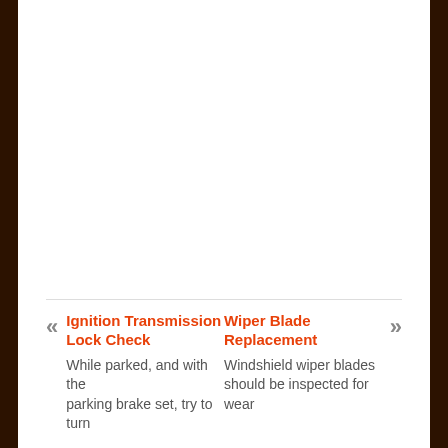Ignition Transmission Lock Check
While parked, and with the parking brake set, try to turn
Wiper Blade Replacement
Windshield wiper blades should be inspected for wear